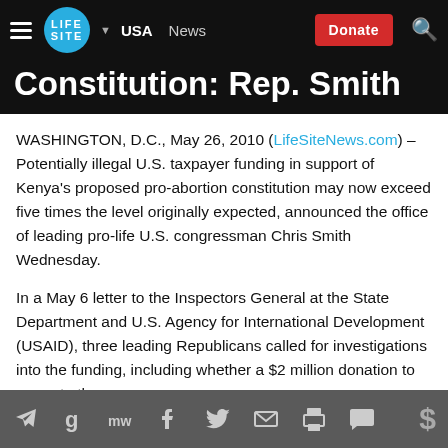LifeSite | USA | News | Donate
Constitution: Rep. Smith
WASHINGTON, D.C., May 26, 2010 (LifeSiteNews.com) – Potentially illegal U.S. taxpayer funding in support of Kenya's proposed pro-abortion constitution may now exceed five times the level originally expected, announced the office of leading pro-life U.S. congressman Chris Smith Wednesday.
In a May 6 letter to the Inspectors General at the State Department and U.S. Agency for International Development (USAID), three leading Republicans called for investigations into the funding, including whether a $2 million donation to promote the
Social share icons: Telegram, Google, MW, Facebook, Twitter, Email, Print, Comment, Donate